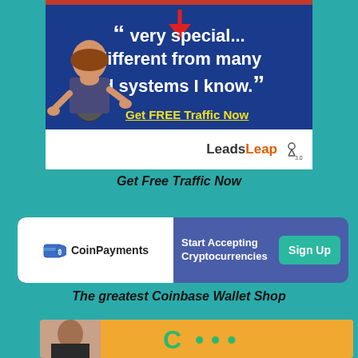[Figure (illustration): LeadsLeap advertisement banner with dark blue background showing quote text 'very special... different from many ad systems I know.' with a cartoon girl mascot, a red arrow pointing down, and a yellow 'Get FREE Traffic Now' CTA link. Bottom bar shows LeadsLeap 3.0 logo on white background.]
Get Free Traffic Now
[Figure (illustration): CoinPayments advertisement banner with white left section showing CoinPayments logo and icon, and blue right section with text 'Start Accepting Cryptocurrencies' and a teal 'Sign Up' button.]
The greatest Coinbase Wallet Shop
[Figure (illustration): Partial advertisement banner with yellow/orange background and a person's photo on the left side. Bottom of page, content cut off.]